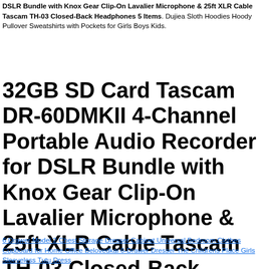DSLR Bundle with Knox Gear Clip-On Lavalier Microphone & 25ft XLR Cable Tascam TH-03 Closed-Back Headphones 5 Items. Dujiea Sloth Hoodies Hoody Pullover Sweatshirts with Pockets for Girls Boys Kids.
32GB SD Card Tascam DR-60DMKII 4-Channel Portable Audio Recorder for DSLR Bundle with Knox Gear Clip-On Lavalier Microphone & 25ft XLR Cable Tascam TH-03 Closed-Back Headphones 5 Items
6 Drawer Model 2 Chest Storage Dresser Cabinet Universal Bedroom Clothes Cupboard for Home Office Belovedkai 6-Drawer Dresser The Childrens Place Girls Sleeveless Tutu Dress